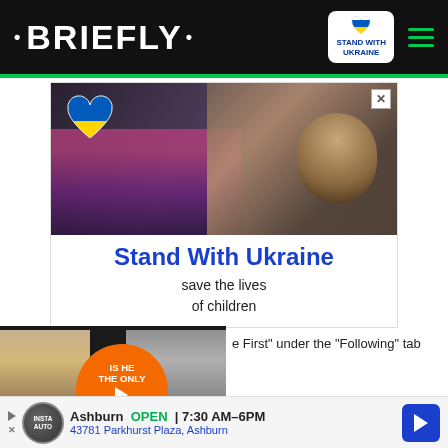• BRIEFLY •
[Figure (logo): Stand With Ukraine badge with blue and yellow heart]
[Figure (photo): Advertisement: Stand With Ukraine — photo of child holding cats with Ukrainian heart emoji overlay]
Stand With Ukraine
save the lives of children
[Figure (photo): Overlay ad with two people and orange circle saying 'IS HE THE ONLY ONE TO BLAME?' with play button]
e First" under the "Following" tab Feed!
[Figure (infographic): Bottom advertisement: Ashburn OPEN 7:30AM-6PM, 43781 Parkhurst Plaza, Ashburn with navigation arrow]